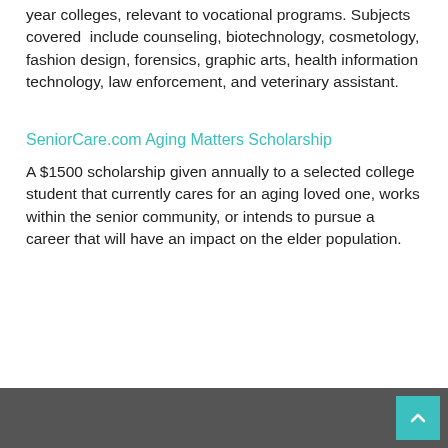year colleges, relevant to vocational programs. Subjects covered include counseling, biotechnology, cosmetology, fashion design, forensics, graphic arts, health information technology, law enforcement, and veterinary assistant.
SeniorCare.com Aging Matters Scholarship
A $1500 scholarship given annually to a selected college student that currently cares for an aging loved one, works within the senior community, or intends to pursue a career that will have an impact on the elder population.